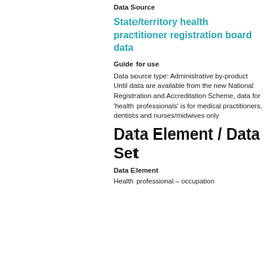Data Source
State/territory health practitioner registration board data
Guide for use
Data source type: Administrative by-product
Until data are available from the new National Registration and Accreditation Scheme, data for 'health professionals' is for medical practitioners, dentists and nurses/midwives only
Data Element / Data Set
Data Element
Health professional – occupation